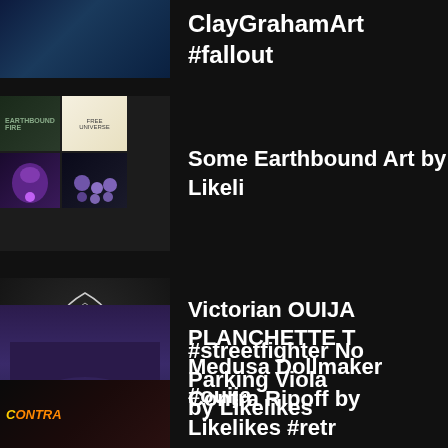ClayGrahamArt #fallout
Some Earthbound Art by Likelikes
Victorian OUIJA PLANCHETTE T... Medusa Dollmaker #ouija
#streetfighter No Parking Viola... by Likelikes
Contra Ripoff by Likelikes #retro